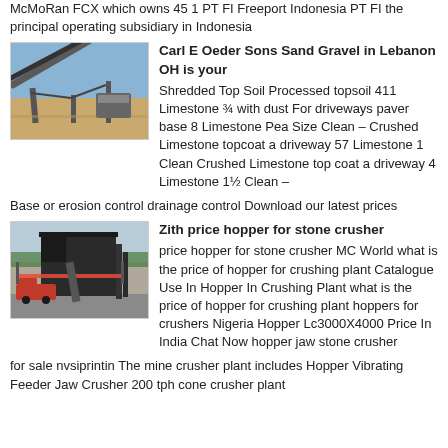McMoRan FCX which owns 45 1 PT FI Freeport Indonesia PT FI the principal operating subsidiary in Indonesia
[Figure (photo): Industrial conveyor belt structure at a mining or quarrying site with sandy terrain and blue sky in background]
Carl E Oeder Sons Sand Gravel in Lebanon OH is your
Shredded Top Soil Processed topsoil 411 Limestone ¾ with dust For driveways paver base 8 Limestone Pea Size Clean – Crushed Limestone topcoat a driveway 57 Limestone 1 Clean Crushed Limestone top coat a driveway 4 Limestone 1½ Clean – Base or erosion control drainage control Download our latest prices
[Figure (photo): Industrial stone crusher hopper and structure with a red truck visible in foreground, trees in background]
Zith price hopper for stone crusher
price hopper for stone crusher MC World what is the price of hopper for crushing plant Catalogue Use In Hopper In Crushing Plant what is the price of hopper for crushing plant hoppers for crushers Nigeria Hopper Lc3000X4000 Price In India Chat Now hopper jaw stone crusher for sale nvsiprintin The mine crusher plant includes Hopper Vibrating Feeder Jaw Crusher 200 tph cone crusher plant